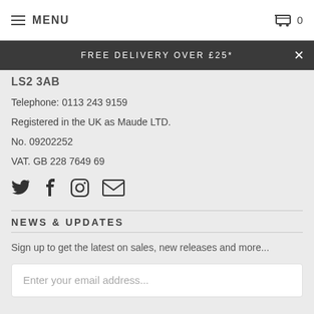MENU  0
FREE DELIVERY OVER £25*
Telephone: 0113 243 9159
Registered in the UK as Maude LTD.
No. 09202252
VAT. GB 228 7649 69
[Figure (infographic): Social media icons: Twitter, Facebook, Instagram, Email]
NEWS & UPDATES
Sign up to get the latest on sales, new releases and more...
Enter your email address...